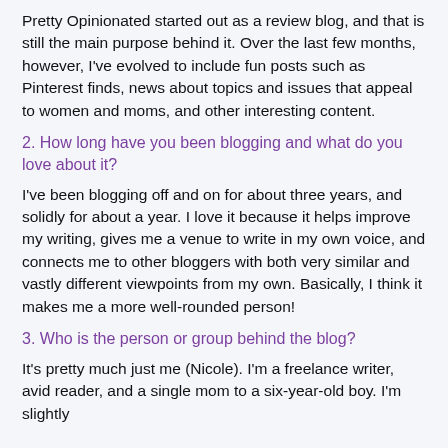Pretty Opinionated started out as a review blog, and that is still the main purpose behind it. Over the last few months, however, I've evolved to include fun posts such as Pinterest finds, news about topics and issues that appeal to women and moms, and other interesting content.
2. How long have you been blogging and what do you love about it?
I've been blogging off and on for about three years, and solidly for about a year. I love it because it helps improve my writing, gives me a venue to write in my own voice, and connects me to other bloggers with both very similar and vastly different viewpoints from my own. Basically, I think it makes me a more well-rounded person!
3. Who is the person or group behind the blog?
It's pretty much just me (Nicole). I'm a freelance writer, avid reader, and a single mom to a six-year-old boy. I'm slightly neurotic (a minor understatement), and not to brag or anything...